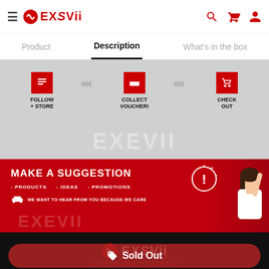EXSVii — navigation header with hamburger menu, logo, search, cart, and profile icons
Product | Description | What's in the box
[Figure (infographic): Gray promotional banner showing 3 steps: Follow + Store, Collect Voucher!, Check Out with red icons and chevron arrows, with EXEVII watermark]
[Figure (infographic): Red banner: MAKE A SUGGESTION - Products - Ideas - Promotions. WE WANT TO HEAR FROM YOU BECAUSE WE CARE. Woman pointing up on right side.]
[Figure (logo): Black banner with EXSVii logo. Below: COMPLETELY DIFFERENT text in red with Sold Out button overlay.]